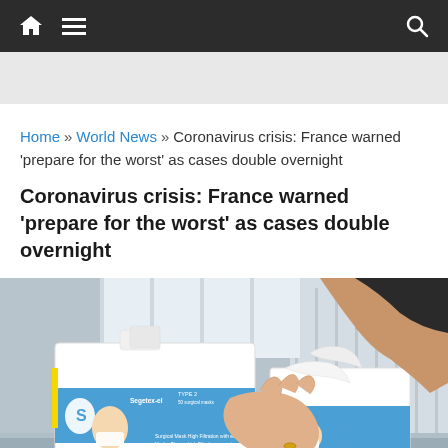Navigation bar with home, menu, and search icons
Home » World News » Coronavirus crisis: France warned 'prepare for the worst' as cases double overnight
Coronavirus crisis: France warned 'prepare for the worst' as cases double overnight
[Figure (photo): Hands reaching into boxes of Segetex-el Type 2 surgical face masks on a metal counter, with shelving in the background.]